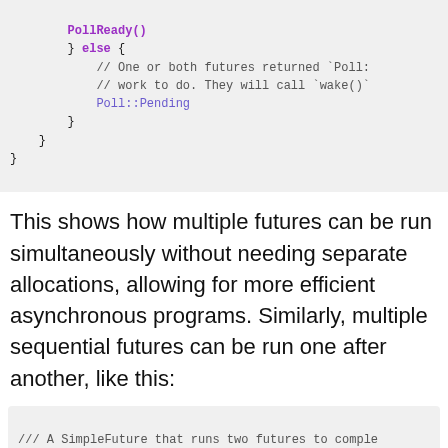[Figure (screenshot): Code block showing Rust async code with else branch, Poll::Pending, and closing braces]
This shows how multiple futures can be run simultaneously without needing separate allocations, allowing for more efficient asynchronous programs. Similarly, multiple sequential futures can be run one after another, like this:
[Figure (screenshot): Code block showing Rust struct AndThenFut with comments about running two futures to completion sequentially]